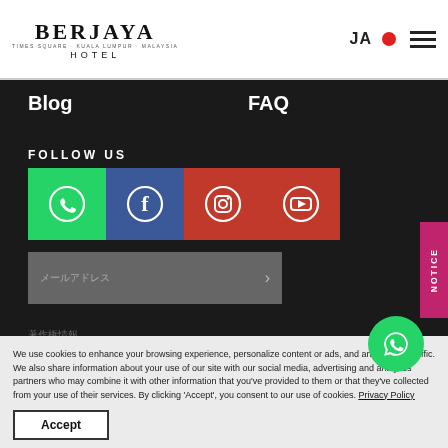BERJAYA TIMES SQUARE KUALA LUMPUR · MALAYSIA HOTEL | JA | menu
Blog
FAQ
FOLLOW US
[Figure (infographic): Social media icon buttons: WhatsApp (green), Facebook (blue), Instagram (red/orange), YouTube (red)]
メールアドレス (email input placeholder)
著作権情報 (copyright footer text)
NOTICE
We use cookies to enhance your browsing experience, personalize content or ads, and analyze our traffic. We also share information about your use of our site with our social media, advertising and analytics partners who may combine it with other information that you've provided to them or that they've collected from your use of their services. By clicking 'Accept', you consent to our use of cookies. Privacy Policy
Accept